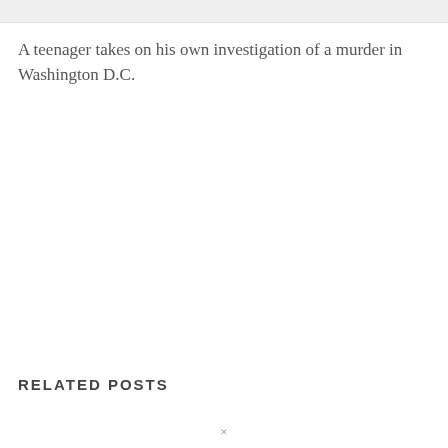A teenager takes on his own investigation of a murder in Washington D.C.
RELATED POSTS